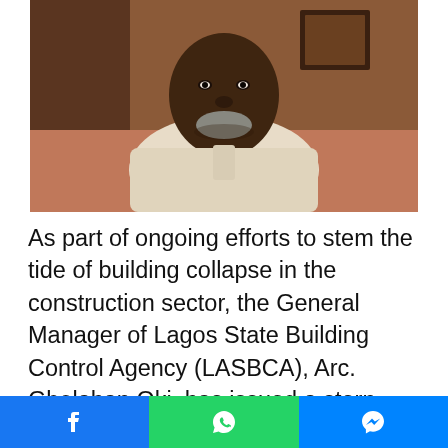[Figure (photo): Portrait photo of a man in a light beige traditional outfit, seated indoors against a warm-toned background.]
As part of ongoing efforts to stem the tide of building collapse in the construction sector, the General Manager of Lagos State Building Control Agency (LASBCA), Arc. Gbolahan Oki, has issued a stern warning to developers and property owners in Lagos to abide by the building codes of the State or face the full wrath of the law.